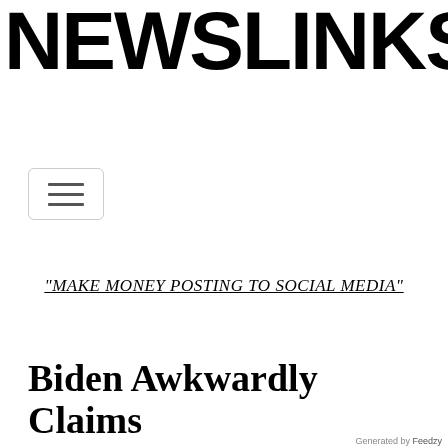NEWSLINKS.NET
[Figure (other): Hamburger menu button with three horizontal bars inside a rounded rectangle border]
"MAKE MONEY POSTING TO SOCIAL MEDIA"
Biden Awkwardly Claims Saudi Visit Really About
Generated by Feedzy